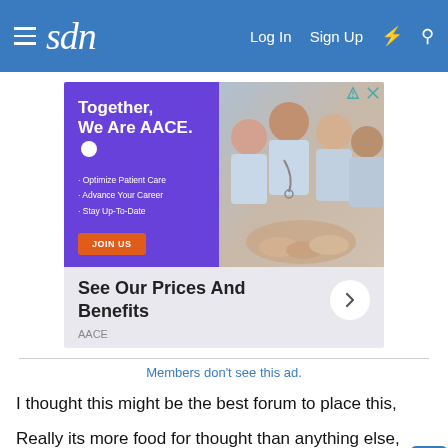sdn — Log In  Sign Up
[Figure (infographic): AACE advertisement: 'Together, We Are AACE.' with bullet points 'Optimize Patient Care', 'Advance Your Career', 'Stay Up-To-Date', a JOIN US button, photo of medical professionals, and 'See Our Prices And Benefits' with arrow button. Source: AACE.]
Members don't see this ad.
I thought this might be the best forum to place this,
Really its more food for thought than anything else, and a bit of venting as well.